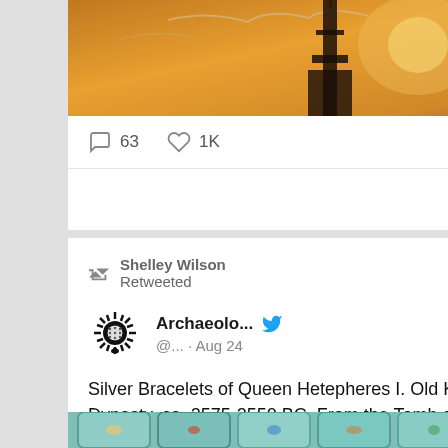[Figure (photo): Photo of a tall tower/monument against a golden sunset sky with clouds]
63   1K
Shelley Wilson Retweeted
Archaeolo... @... · Aug 24
Silver Bracelets of Queen Hetepheres I. Old Kingdom, 4th Dynasty, ca. 2575-2550 BC. From the Tomb of Hetepheres I, near the Great Pyramid of Giza. Now in the Egyptian Museum, Cairo.
[Figure (photo): Photo of silver bracelets of Queen Hetepheres I with turquoise and colorful stone inlays]